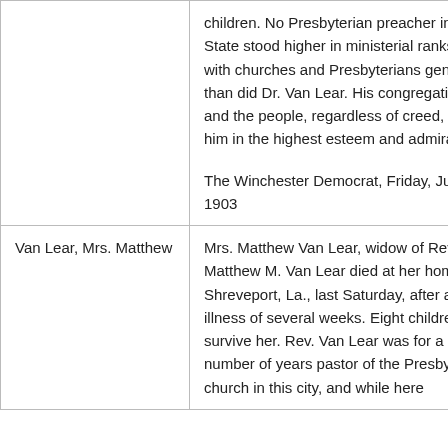|  | children. No Presbyterian preacher in the State stood higher in ministerial ranks or with churches and Presbyterians generally than did Dr. Van Lear. His congregation and the people, regardless of creed, held him in the highest esteem and admiration.

The Winchester Democrat, Friday, June 5, 1903 |
| Van Lear, Mrs. Matthew | Mrs. Matthew Van Lear, widow of Rev. Matthew M. Van Lear died at her home in Shreveport, La., last Saturday, after an illness of several weeks. Eight children survive her. Rev. Van Lear was for a number of years pastor of the Presbyterian church in this city, and while here |